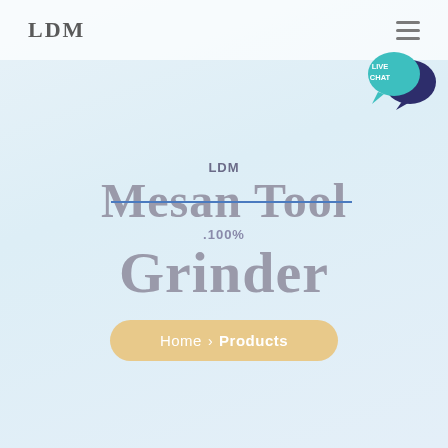LDM
[Figure (logo): LDM company logo text in serif bold gray font in navigation bar]
[Figure (infographic): Live Chat speech bubble icon in teal/dark blue colors, top right corner]
LDM Mesan Tool .100% Grinder
Home > Products